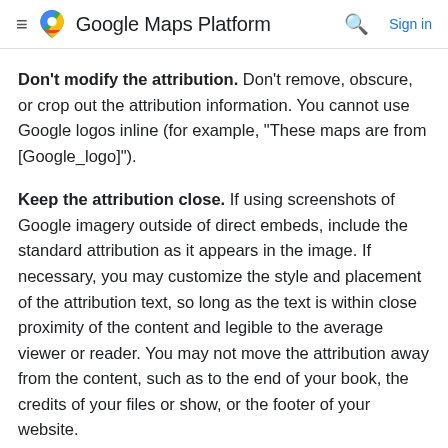Google Maps Platform  Sign in
Don't modify the attribution. Don't remove, obscure, or crop out the attribution information. You cannot use Google logos inline (for example, "These maps are from [Google_logo]").
Keep the attribution close. If using screenshots of Google imagery outside of direct embeds, include the standard attribution as it appears in the image. If necessary, you may customize the style and placement of the attribution text, so long as the text is within close proximity of the content and legible to the average viewer or reader. You may not move the attribution away from the content, such as to the end of your book, the credits of your files or show, or the footer of your website.
Include third-party data providers. Some of the data and images on our mapping products come from providers